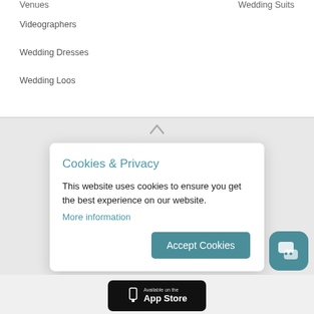Venues
Wedding Suits
Videographers
Wedding Dresses
Wedding Loos
Cookies & Privacy
This website uses cookies to ensure you get the best experience on our website.
More information
Accept Cookies
[Figure (screenshot): App Store download button with phone icon]
[Figure (other): Teal chat/messaging icon button in bottom right]